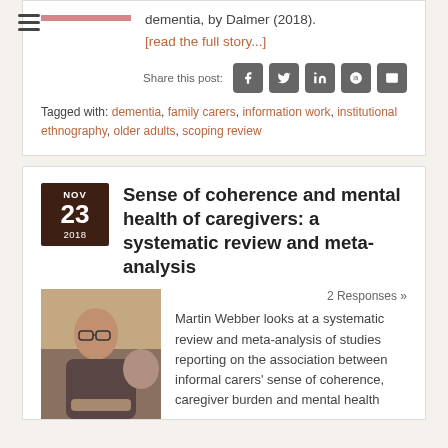dementia, by Dalmer (2018).
[read the full story...]
Share this post:
Tagged with: dementia, family carers, information work, institutional ethnography, older adults, scoping review
Sense of coherence and mental health of caregivers: a systematic review and meta-analysis
2 Responses »
[Figure (photo): Photo of a person wearing glasses, sitting at a table with another person, appearing to hold hands.]
Martin Webber looks at a systematic review and meta-analysis of studies reporting on the association between informal carers' sense of coherence, caregiver burden and mental health